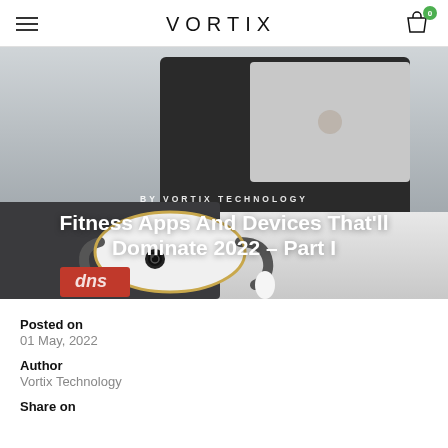VORTIX
[Figure (photo): Hero image showing a white VR/AR headset device with dark strap on a white desk surface, next to a dark laptop and red wallet. Overlaid text reads 'BY VORTIX TECHNOLOGY' and 'Fitness Apps And Devices That'll Dominate 2022 – Part I']
Fitness Apps And Devices That'll Dominate 2022 – Part I
Posted on
01 May, 2022
Author
Vortix Technology
Share on